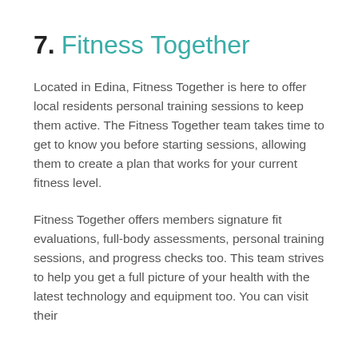7. Fitness Together
Located in Edina, Fitness Together is here to offer local residents personal training sessions to keep them active. The Fitness Together team takes time to get to know you before starting sessions, allowing them to create a plan that works for your current fitness level.
Fitness Together offers members signature fit evaluations, full-body assessments, personal training sessions, and progress checks too. This team strives to help you get a full picture of your health with the latest technology and equipment too. You can visit their